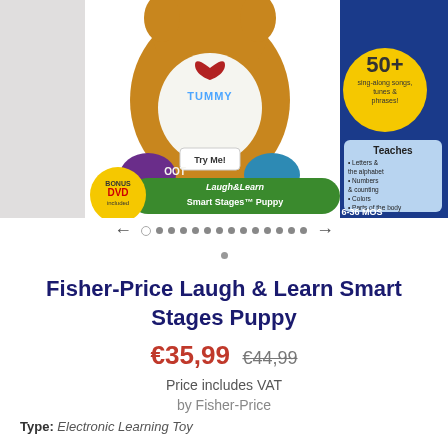[Figure (photo): Fisher-Price Laugh & Learn Smart Stages Puppy product box showing a brown plush puppy toy with a white tummy, purple paws, and interactive buttons. Box features 'BONUS DVD included', 'Try Me!' label, 'Laugh & Learn Smart Stages Puppy' branding, '50+ sing-along songs, tunes & phrases!', 'Teaches Letters & the alphabet, Numbers & counting, Colors, Parts of the body', and '6-36 MOS' age range.]
[Figure (other): Carousel navigation with left arrow, one open circle, thirteen filled dots, and a right arrow, plus one additional dot below center.]
Fisher-Price Laugh & Learn Smart Stages Puppy
€35,99 €44,99
Price includes VAT
by Fisher-Price
Type: Electronic Learning Toy